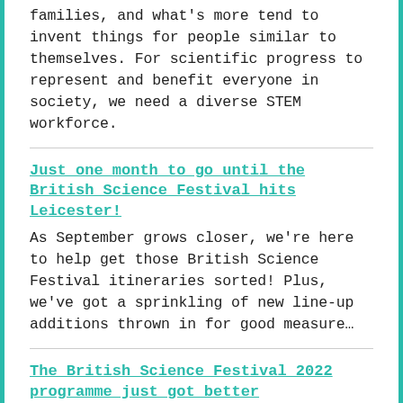families, and what's more tend to invent things for people similar to themselves. For scientific progress to represent and benefit everyone in society, we need a diverse STEM workforce.
Just one month to go until the British Science Festival hits Leicester!
As September grows closer, we're here to help get those British Science Festival itineraries sorted! Plus, we've got a sprinkling of new line-up additions thrown in for good measure…
The British Science Festival 2022 programme just got better
Discover your inner space explorer, or